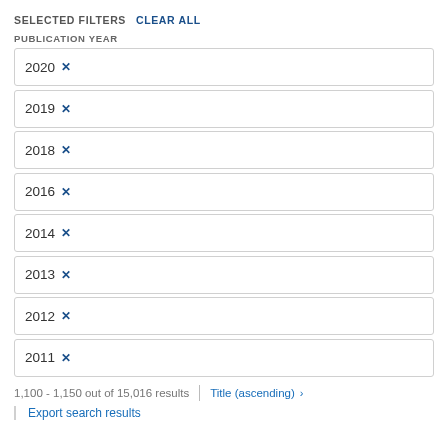SELECTED FILTERS  CLEAR ALL
PUBLICATION YEAR
2020 ×
2019 ×
2018 ×
2016 ×
2014 ×
2013 ×
2012 ×
2011 ×
1,100 - 1,150 out of 15,016 results
Title (ascending) ›
Export search results